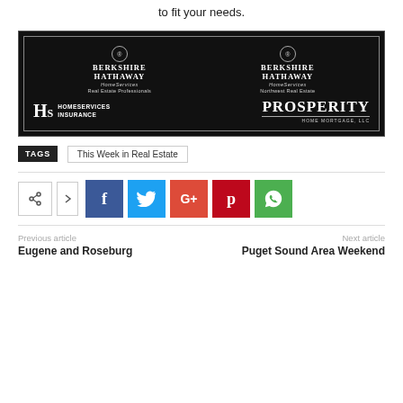to fit your needs.
[Figure (logo): Berkshire Hathaway HomeServices advertisement banner showing Real Estate Professionals, Northwest Real Estate, HomeServices Insurance, and Prosperity Home Mortgage LLC logos on black background]
TAGS  This Week in Real Estate
[Figure (infographic): Social share buttons: share icon, arrow, Facebook (f), Twitter (bird), Google+, Pinterest (P), WhatsApp]
Previous article
Next article
Eugene and Roseburg
Puget Sound Area Weekend